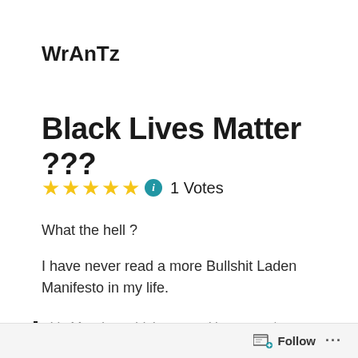WrAnTz
Black Lives Matter ???
★★★★★ ℹ 1 Votes
What the hell ?
I have never read a more Bullshit Laden Manifesto in my life.
It's Monday, which means it's as good
Follow ...